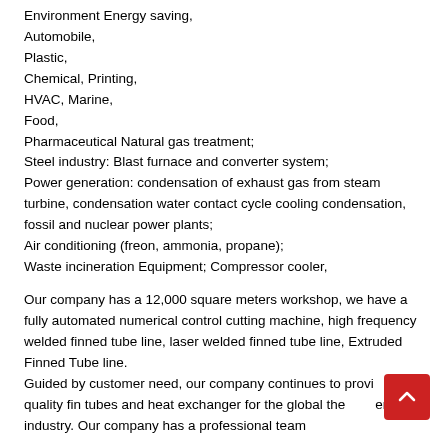Environment Energy saving, Automobile, Plastic, Chemical, Printing, HVAC, Marine, Food, Pharmaceutical Natural gas treatment; Steel industry: Blast furnace and converter system; Power generation: condensation of exhaust gas from steam turbine, condensation water contact cycle cooling condensation, fossil and nuclear power plants; Air conditioning (freon, ammonia, propane); Waste incineration Equipment; Compressor cooler,
Our company has a 12,000 square meters workshop, we have a fully automated numerical control cutting machine, high frequency welded finned tube line, laser welded finned tube line, Extruded Finned Tube line. Guided by customer need, our company continues to provide high-quality fin tubes and heat exchanger for the global thermal energy industry. Our company has a professional team